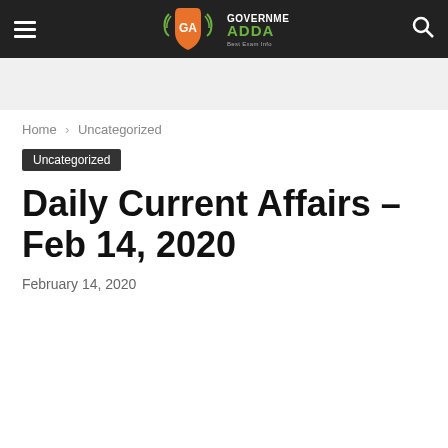Government Adda — Best Exam Info
Home › Uncategorized
Uncategorized
Daily Current Affairs – Feb 14, 2020
February 14, 2020